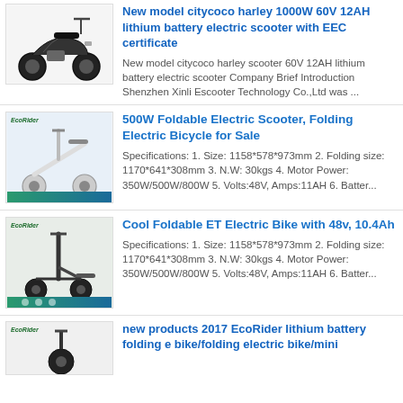[Figure (photo): Electric citycoco harley-style scooter with wide tires, black color]
New model citycoco harley 1000W 60V 12AH lithium battery electric scooter with EEC certificate
New model citycoco harley scooter 60V 12AH lithium battery electric scooter Company Brief Introduction Shenzhen Xinli Escooter Technology Co.,Ltd was ...
[Figure (photo): Foldable electric scooter / bicycle, white frame, compact folded form]
500W Foldable Electric Scooter, Folding Electric Bicycle for Sale
Specifications: 1. Size: 1158*578*973mm 2. Folding size: 1170*641*308mm 3. N.W: 30kgs 4. Motor Power: 350W/500W/800W 5. Volts:48V, Amps:11AH 6. Batter...
[Figure (photo): EcoRider foldable ET electric bike, black minimalist design with small wheels]
Cool Foldable ET Electric Bike with 48v, 10.4Ah
Specifications: 1. Size: 1158*578*973mm 2. Folding size: 1170*641*308mm 3. N.W: 30kgs 4. Motor Power: 350W/500W/800W 5. Volts:48V, Amps:11AH 6. Batter...
[Figure (photo): EcoRider lithium battery folding e bike / folding electric bike / mini product 2017]
new products 2017 EcoRider lithium battery folding e bike/folding electric bike/mini